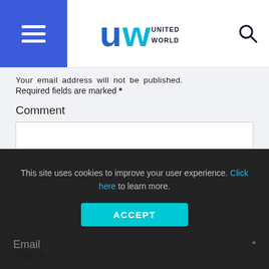United World — navigation header with hamburger menu and search icon
Your email address will not be published. Required fields are marked *
Comment
Name *
Email *
This site uses cookies to improve your user experience. Click here to learn more.
ACCEPT